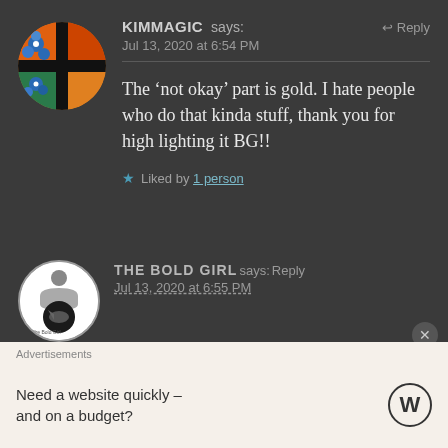[Figure (photo): Circular avatar with colorful mosaic/painting — blue flowers, orange and black sections]
KIMMAGIC says: Jul 13, 2020 at 6:54 PM
The ‘not okay’ part is gold. I hate people who do that kinda stuff, thank you for high lighting it BG!!
★ Liked by 1 person
[Figure (logo): Circular avatar showing The Bold Girl logo with dark background]
THE BOLD GIRL says: Reply Jul 13, 2020 at 6:55 PM
Advertisements
Need a website quickly – and on a budget?
[Figure (logo): WordPress logo circle W mark]